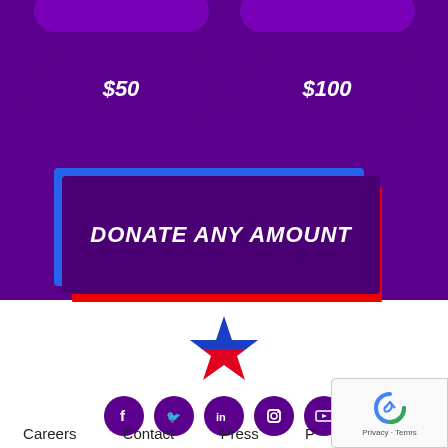[Figure (screenshot): Purple donation button section with $50 and $100 pill-shaped buttons on dark purple background, and a 'DONATE ANY AMOUNT' button with blue and red layered background effect]
[Figure (logo): Star logo with blue top half and red bottom half]
[Figure (infographic): Row of five social media icons (Facebook, Twitter, LinkedIn, Instagram, YouTube) in purple circles]
Careers   Contact   Press   P...